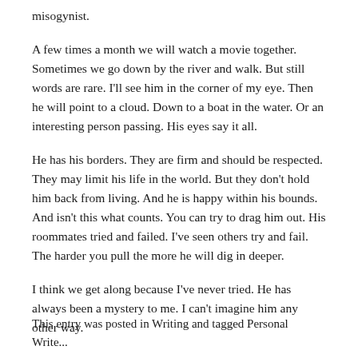misogynist.
A few times a month we will watch a movie together. Sometimes we go down by the river and walk. But still words are rare. I'll see him in the corner of my eye. Then he will point to a cloud. Down to a boat in the water. Or an interesting person passing. His eyes say it all.
He has his borders. They are firm and should be respected. They may limit his life in the world. But they don't hold him back from living. And he is happy within his bounds. And isn't this what counts. You can try to drag him out. His roommates tried and failed. I've seen others try and fail. The harder you pull the more he will dig in deeper.
I think we get along because I've never tried. He has always been a mystery to me. I can't imagine him any other way.
This entry was posted in Writing and tagged Personal Write...